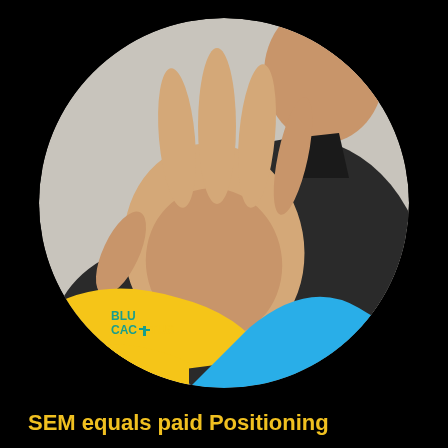[Figure (photo): Circular cropped photo of a person in a dark shirt with their hand raised in a 'stop' gesture, palm facing the viewer. The bottom of the circle features a yellow wave shape on the left and a blue wave shape on the right, with a BluCactus logo overlaid on the yellow area.]
SEM equals paid Positioning